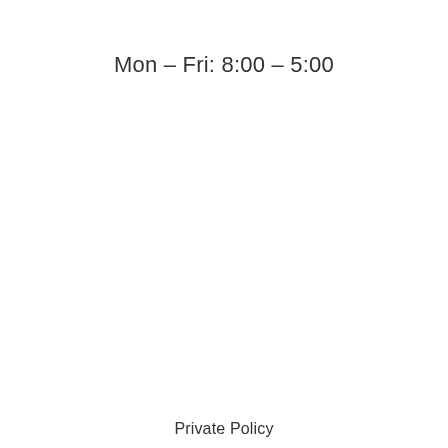Mon – Fri: 8:00 – 5:00
Private Policy